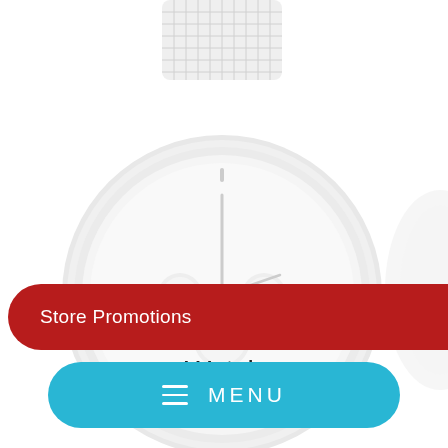[Figure (photo): A white chronograph watch with mesh bracelet, shown on a white background. Partial view of another watch visible at the right edge.]
ZK127G... B4C...
Watch
LE 2,950.00
Store Promotions  SALE
≡  MENU